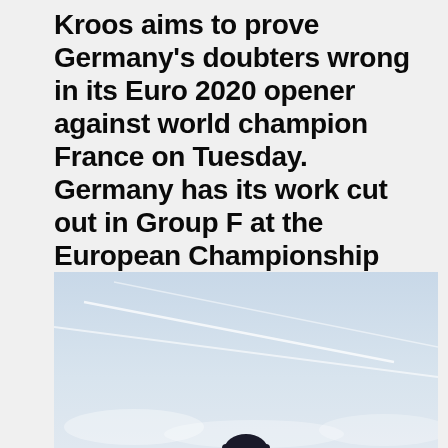Kroos aims to prove Germany's doubters wrong in its Euro 2020 opener against world champion France on Tuesday. Germany has its work cut out in Group F at the European Championship with holder Portugal and Hungary to come after the mouth-watering tie against the French in Munich.
[Figure (photo): A person photographed from below against a pale blue sky with thin white contrail streaks crossing diagonally across the frame.]